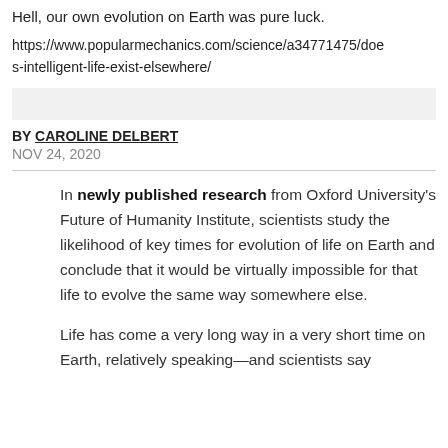Hell, our own evolution on Earth was pure luck.
https://www.popularmechanics.com/science/a34771475/does-intelligent-life-exist-elsewhere/
BY CAROLINE DELBERT
NOV 24, 2020
In newly published research from Oxford University's Future of Humanity Institute, scientists study the likelihood of key times for evolution of life on Earth and conclude that it would be virtually impossible for that life to evolve the same way somewhere else.
Life has come a very long way in a very short time on Earth, relatively speaking—and scientists say